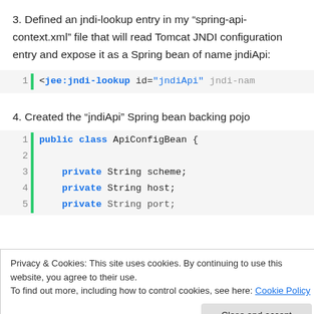3. Defined an jndi-lookup entry in my “spring-api-context.xml” file that will read Tomcat JNDI configuration entry and expose it as a Spring bean of name jndiApi:
[Figure (screenshot): Code block showing XML line: 1  <jee:jndi-lookup id="jndiApi" jndi-nam]
4. Created the “jndiApi” Spring bean backing pojo
[Figure (screenshot): Code block showing Java class ApiConfigBean with lines: 1 public class ApiConfigBean { 2 (blank) 3     private String scheme; 4     private String host; 5     private String port;]
Privacy & Cookies: This site uses cookies. By continuing to use this website, you agree to their use.
To find out more, including how to control cookies, see here: Cookie Policy
[Figure (screenshot): Code line 13: this.version = version;]